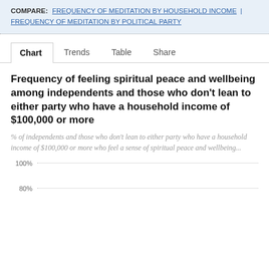COMPARE: FREQUENCY OF MEDITATION BY HOUSEHOLD INCOME  FREQUENCY OF MEDITATION BY POLITICAL PARTY
Chart  Trends  Table  Share
Frequency of feeling spiritual peace and wellbeing among independents and those who don't lean to either party who have a household income of $100,000 or more
% of independents and those who don't lean to either party who have a household income of $100,000 or more who feel a sense of spiritual peace and wellbeing...
[Figure (continuous-plot): Partial bar chart showing y-axis gridlines at 100% and 80%, with dotted horizontal lines. Chart content is cut off at bottom of page.]